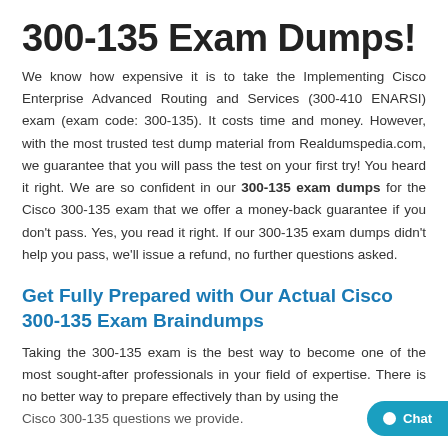300-135 Exam Dumps!
We know how expensive it is to take the Implementing Cisco Enterprise Advanced Routing and Services (300-410 ENARSI) exam (exam code: 300-135). It costs time and money. However, with the most trusted test dump material from Realdumspedia.com, we guarantee that you will pass the test on your first try! You heard it right. We are so confident in our 300-135 exam dumps for the Cisco 300-135 exam that we offer a money-back guarantee if you don't pass. Yes, you read it right. If our 300-135 exam dumps didn't help you pass, we'll issue a refund, no further questions asked.
Get Fully Prepared with Our Actual Cisco 300-135 Exam Braindumps
Taking the 300-135 exam is the best way to become one of the most sought-after professionals in your field of expertise. There is no better way to prepare effectively than by using the Cisco 300-135 questions we provide.